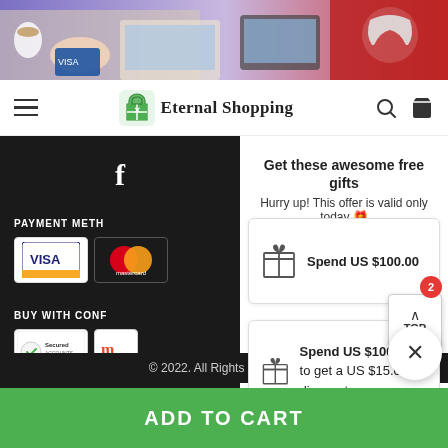[Figure (screenshot): Top banner with hands on laptop and headphones against purple/red background]
Eternal Shopping navigation bar with hamburger menu, logo, search and cart icons
PAYMENT METH (payment methods section with Visa and Mastercard logos)
BUY WITH CONF (buy with confidence section with trust badges)
Get these awesome free gifts
Hurry up! This offer is valid only today 🎁
Spend US $100.00
Spend US $100.00
to get a US $15.00 discount
© 2022. All Rights Reserved
ADD TO CART